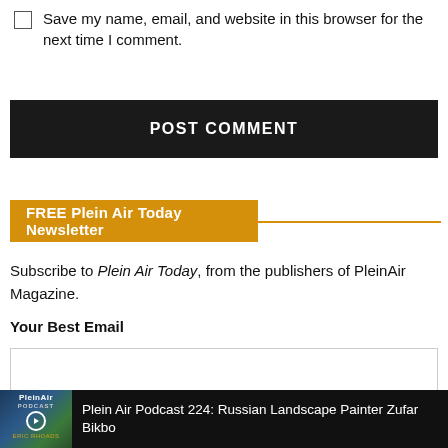Save my name, email, and website in this browser for the next time I comment.
POST COMMENT
FREE Plein Air Today Newsletter
Subscribe to Plein Air Today, from the publishers of PleinAir Magazine.
Your Best Email
Yes, Sign Me Up!
Plein Air Podcast 224: Russian Landscape Painter Zufar Bikbo